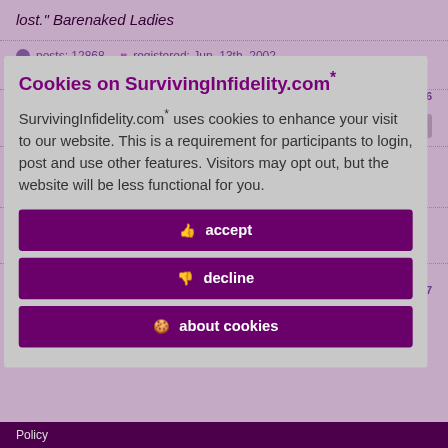lost." Barenaked Ladies
posts: 12868 · registered: Jun. 13th, 2002 · location: North Carolina
id 8739606
Cookies on SurvivingInfidelity.com*
SurvivingInfidelity.com* uses cookies to enhance your visit to our website. This is a requirement for participants to login, post and use other features. Visitors may opt out, but the website will be less functional for you.
accept
decline
about cookies
ng easy has its one loved can be
id 8739607
Policy